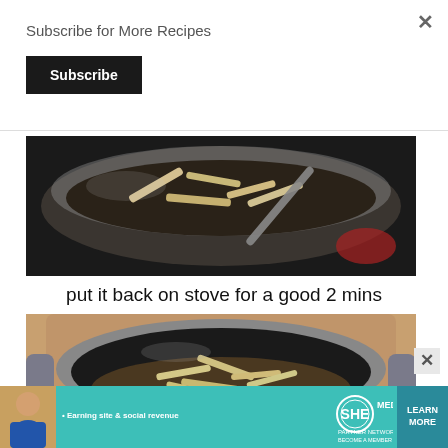Subscribe for More Recipes
Subscribe
[Figure (photo): Top-down view of a pot with pasta and vegetables being stirred, seen from the side]
put it back on stove for a good 2 mins
[Figure (photo): Top-down view of an Instant Pot with pasta, ground meat, and vegetables inside]
[Figure (infographic): SHE Media advertisement banner: Earning site & social revenue, PARTNER NETWORK, BECOME A MEMBER, LEARN MORE button]